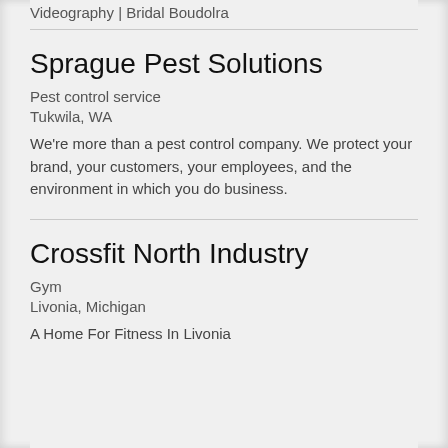Videography | Bridal Boudolra
Sprague Pest Solutions
Pest control service
Tukwila, WA
We're more than a pest control company. We protect your brand, your customers, your employees, and the environment in which you do business.
Crossfit North Industry
Gym
Livonia, Michigan
A Home For Fitness In Livonia